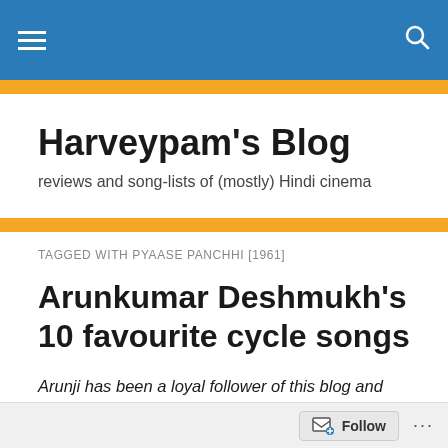Harveypam's Blog
Harveypam's Blog
reviews and song-lists of (mostly) Hindi cinema
TAGGED WITH PYAASE PANCHHI [1961]
Arunkumar Deshmukh's 10 favourite cycle songs
Arunji has been a loyal follower of this blog and has always been very much encouraging. With this post he makes his debut here on this blog in the role of an author.